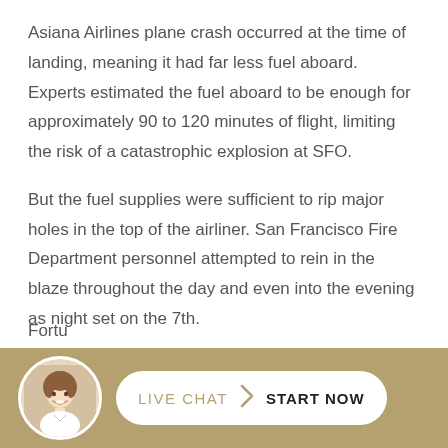Asiana Airlines plane crash occurred at the time of landing, meaning it had far less fuel aboard. Experts estimated the fuel aboard to be enough for approximately 90 to 120 minutes of flight, limiting the risk of a catastrophic explosion at SFO.
But the fuel supplies were sufficient to rip major holes in the top of the airliner. San Francisco Fire Department personnel attempted to rein in the blaze throughout the day and even into the evening as night set on the 7th.
Fortu[nately]...
[Figure (illustration): Live chat widget footer bar with a circular avatar photo of a smiling woman and a button reading LIVE CHAT > START NOW on a tan/gold background.]